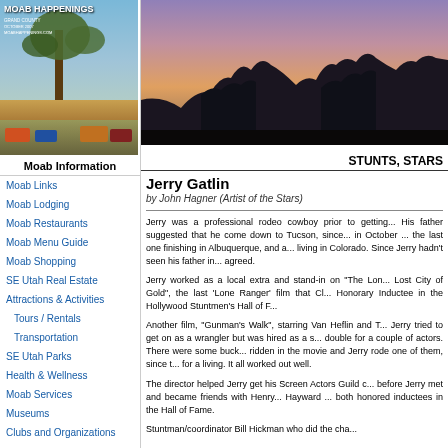[Figure (photo): Moab Happenings magazine cover showing a tree and desert landscape]
Moab Information
Moab Links
Moab Lodging
Moab Restaurants
Moab Menu Guide
Moab Shopping
SE Utah Real Estate
Attractions & Activities
Tours / Rentals
Transportation
SE Utah Parks
Health & Wellness
Moab Services
Museums
Clubs and Organizations
Current Calendar (Home)
[Figure (photo): Silhouette photo of desert rock formations at dusk/sunset with purple sky]
STUNTS, STARS
Jerry Gatlin
by John Hagner (Artist of the Stars)
Jerry was a professional rodeo cowboy prior to getting... His father suggested that he come down to Tucson, since... in October ... the last one finishing in Albuquerque, and a... living in Colorado. Since Jerry hadn't seen his father in... agreed.
Jerry worked as a local extra and stand-in on "The Lon... Lost City of Gold", the last 'Lone Ranger' film that Cl... Honorary Inductee in the Hollywood Stuntmen's Hall of F...
Another film, "Gunman's Walk", starring Van Heflin and T... Jerry tried to get on as a wrangler but was hired as a s... double for a couple of actors. There were some buck... ridden in the movie and Jerry rode one of them, since t... for a living. It all worked out well.
The director helped Jerry get his Screen Actors Guild c... before Jerry met and became friends with Henry... Hayward ... both honored inductees in the Hall of Fame.
Stuntman/coordinator Bill Hickman who did the cha...